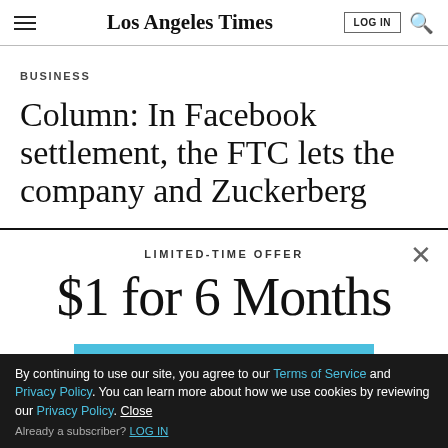Los Angeles Times
BUSINESS
Column: In Facebook settlement, the FTC lets the company and Zuckerberg
LIMITED-TIME OFFER
$1 for 6 Months
SUBSCRIBE NOW
By continuing to use our site, you agree to our Terms of Service and Privacy Policy. You can learn more about how we use cookies by reviewing our Privacy Policy. Close
Already a subscriber? LOG IN